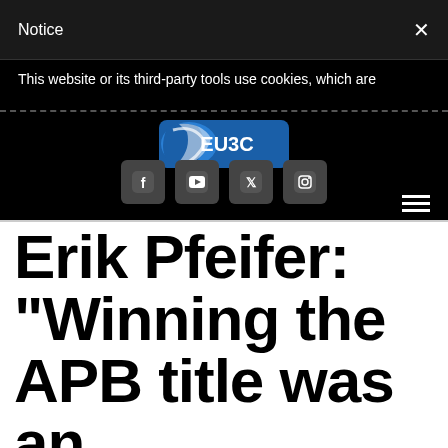Notice
This website or its third-party tools use cookies, which are necessary to its functioning and required to achieve the purposes...
[Figure (logo): EUBC logo - blue shield with stylized boxing glove and EU stars, with text EU3C]
[Figure (other): Social media icons: Facebook, YouTube, Twitter, Instagram in rounded square buttons]
Erik Pfeifer: “Winning the APB title was an accomplishment